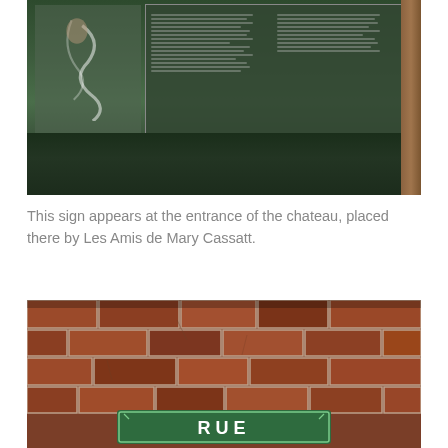[Figure (photo): A photograph of an informational sign at the entrance of a chateau. The sign has dark green/black background with French text and a decorative figure on the left side. Green foliage and trees are visible in the background behind the sign, and a wooden post is visible on the right edge.]
This sign appears at the entrance of the chateau, placed there by Les Amis de Mary Cassatt.
[Figure (photo): A close-up photograph of a brick wall with a green French street sign at the bottom. The sign has a white border/notched corners and shows the text 'RUE' in white capital letters on a green background.]